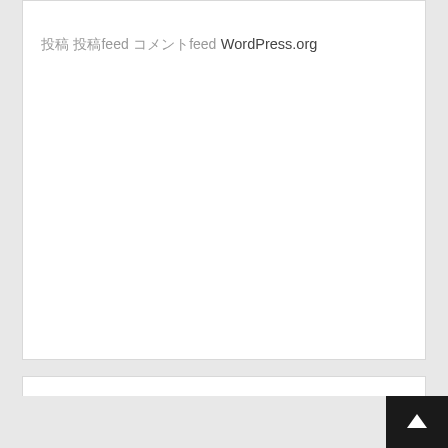投稿
投稿feed
コメントfeed
WordPress.org
タグ
■■■■■■■■■■■■,■■■■■■■■■■■■■,■■■■■■,■■■■■■■■,■■.